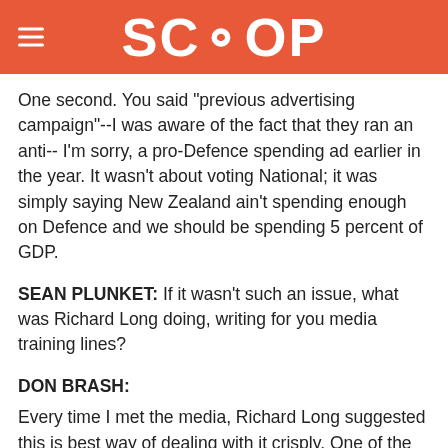SCOOP
One second. You said "previous advertising campaign"--I was aware of the fact that they ran an anti-- I'm sorry, a pro-Defence spending ad earlier in the year. It wasn't about voting National; it was simply saying New Zealand ain't spending enough on Defence and we should be spending 5 percent of GDP.
SEAN PLUNKET: If it wasn't such an issue, what was Richard Long doing, writing for you media training lines?
DON BRASH:
Every time I met the media, Richard Long suggested this is best way of dealing with it crisply. One of the difficulties I had as leader was I wanted to--
SEAN PLUNKET: